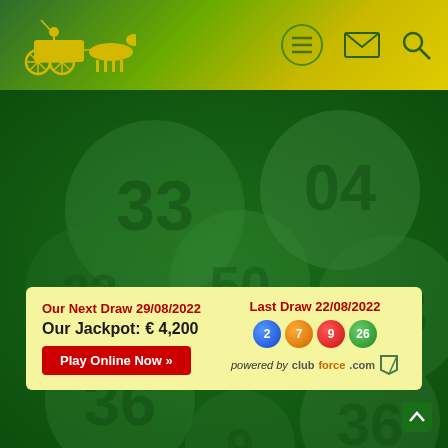[Figure (screenshot): Website header with horse and carriage logo in yellow, hamburger menu icon in circle, email icon, and search icon on gradient green-to-yellow background]
[Figure (illustration): Background of lottery balls with numbers 33, 04, 13, 36, 22, etc. on dark green background]
Our Next Draw 29/08/2022
Our Jackpot: € 4,200
Play Online Now »
Last Draw 22/08/2022
2 7 9 26
powered by clubforce.com